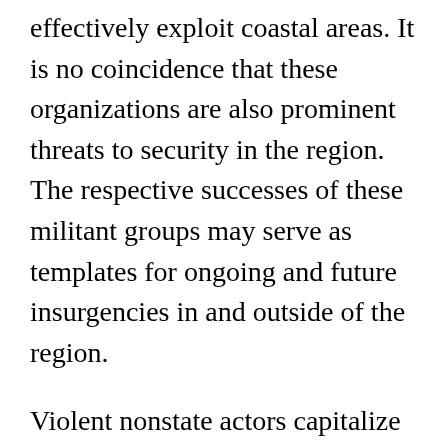effectively exploit coastal areas. It is no coincidence that these organizations are also prominent threats to security in the region. The respective successes of these militant groups may serve as templates for ongoing and future insurgencies in and outside of the region.
Violent nonstate actors capitalize on the seaborne activities in distinct patterns corresponding with differences in the strategic environment as well as their relative strengths and organizational needs. Policymakers would do well to monitor